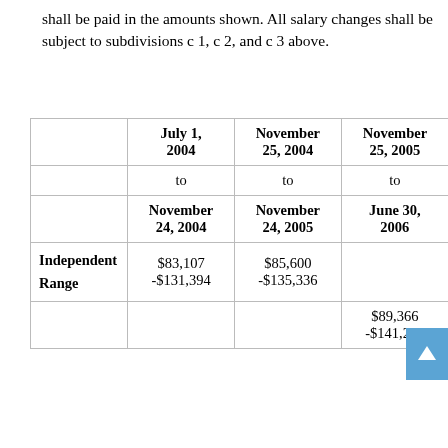shall be paid in the amounts shown. All salary changes shall be subject to subdivisions c 1, c 2, and c 3 above.
|  | July 1, 2004 to November 24, 2004 | November 25, 2004 to November 24, 2005 | November 25, 2005 to June 30, 2006 |
| --- | --- | --- | --- |
| Independent Range | $83,107 -$131,394 | $85,600 -$135,336 |  |
|  |  |  | $89,366 -$141,291 |